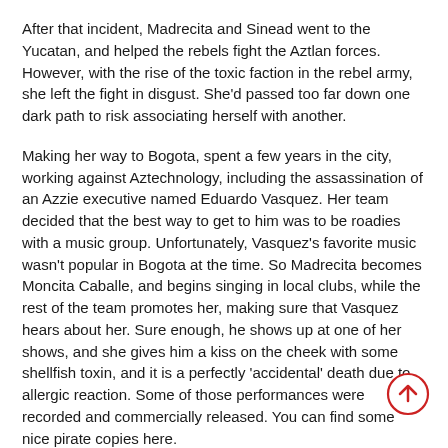After that incident, Madrecita and Sinead went to the Yucatan, and helped the rebels fight the Aztlan forces. However, with the rise of the toxic faction in the rebel army, she left the fight in disgust. She'd passed too far down one dark path to risk associating herself with another.
Making her way to Bogota, spent a few years in the city, working against Aztechnology, including the assassination of an Azzie executive named Eduardo Vasquez. Her team decided that the best way to get to him was to be roadies with a music group. Unfortunately, Vasquez's favorite music wasn't popular in Bogota at the time. So Madrecita becomes Moncita Caballe, and begins singing in local clubs, while the rest of the team promotes her, making sure that Vasquez hears about her. Sure enough, he shows up at one of her shows, and she gives him a kiss on the cheek with some shellfish toxin, and it is a perfectly 'accidental' death due to allergic reaction. Some of those performances were recorded and commercially released. You can find some nice pirate copies here.
[Figure (other): A circular scroll-to-top button with a red border and an upward-pointing arrow in red.]